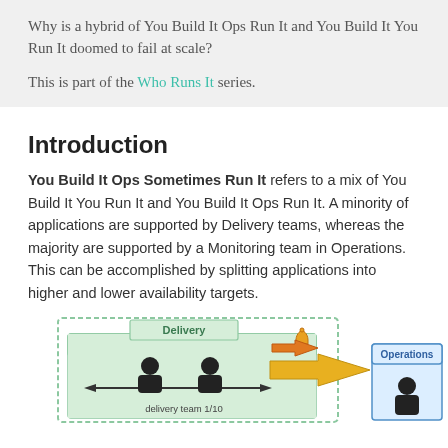Why is a hybrid of You Build It Ops Run It and You Build It You Run It doomed to fail at scale?
This is part of the Who Runs It series.
Introduction
You Build It Ops Sometimes Run It refers to a mix of You Build It You Run It and You Build It Ops Run It. A minority of applications are supported by Delivery teams, whereas the majority are supported by a Monitoring team in Operations. This can be accomplished by splitting applications into higher and lower availability targets.
[Figure (illustration): Diagram showing Delivery team box with two person icons and a double-headed arrow labeled 'delivery team 1/10', connected by a yellow arrow to an Operations box with a person icon. A bell/alert icon appears above the arrow between the two boxes.]